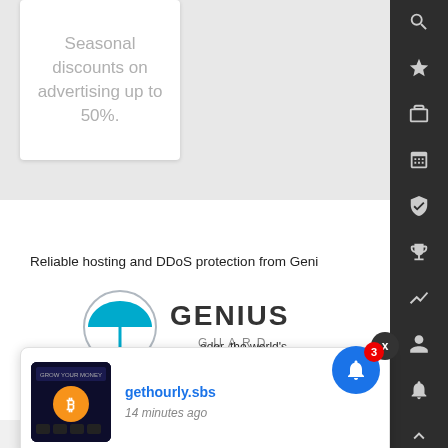[Figure (screenshot): White card with gray text showing seasonal discount advertisement]
Seasonal discounts on advertising up to 50%.
Reliable hosting and DDoS protection from Genius Guard
[Figure (logo): Genius Guard logo with umbrella icon and GENIUS GUARD text]
[Figure (screenshot): Popup notification card showing gethourly.sbs website link with thumbnail and timestamp 14 minutes ago]
gethourly.sbs
14 minutes ago